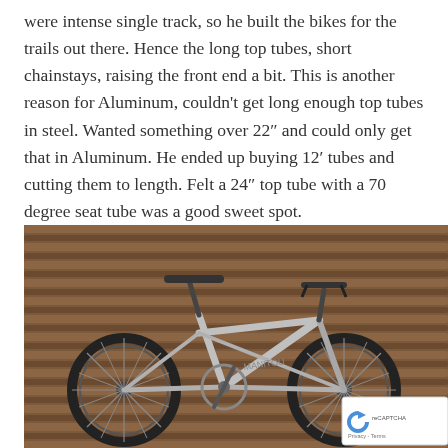were intense single track, so he built the bikes for the trails out there. Hence the long top tubes, short chainstays, raising the front end a bit. This is another reason for Aluminum, couldn't get long enough top tubes in steel. Wanted something over 22" and could only get that in Aluminum. He ended up buying 12' tubes and cutting them to length. Felt a 24" top tube with a 70 degree seat tube was a good sweet spot.
[Figure (photo): A silver aluminum mountain bike leaning against a corrugated metal wall/fence. The bike has black tires, a black saddle, and appears to be a Manitou-branded frame. The photo is taken outdoors.]